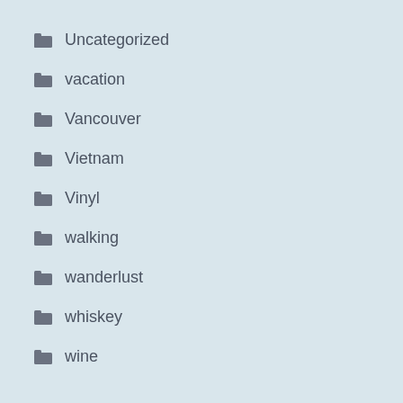Uncategorized
vacation
Vancouver
Vietnam
Vinyl
walking
wanderlust
whiskey
wine